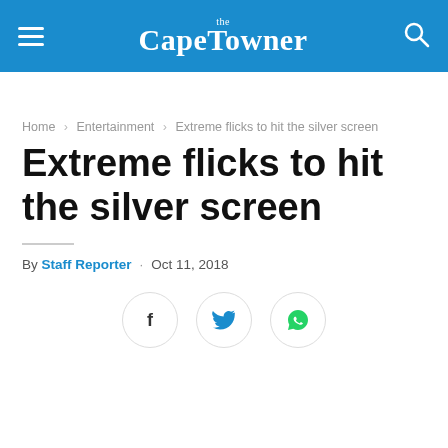the CapeTowner
Home › Entertainment › Extreme flicks to hit the silver screen
Extreme flicks to hit the silver screen
By Staff Reporter · Oct 11, 2018
[Figure (other): Social share buttons: Facebook, Twitter, WhatsApp]